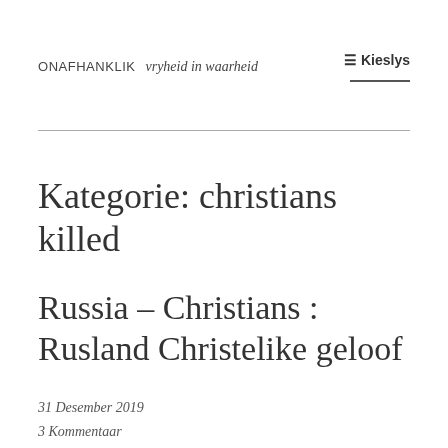ONAFTHANKLIK  vryheid in waarheid  ☰ Kieslys
Kategorie: christians killed
Russia – Christians : Rusland Christelike geloof
31 Desember 2019
3 Kommentaar